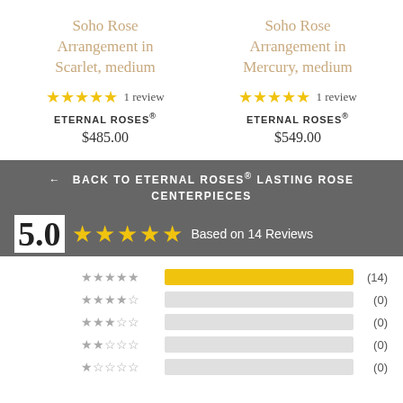Soho Rose Arrangement in Scarlet, medium
Soho Rose Arrangement in Mercury, medium
★★★★★ 1 review
ETERNAL ROSES®
$485.00
★★★★★ 1 review
ETERNAL ROSES®
$549.00
← BACK TO ETERNAL ROSES® LASTING ROSE CENTERPIECES
5.0 ★★★★★ Based on 14 Reviews
[Figure (bar-chart): Rating distribution]